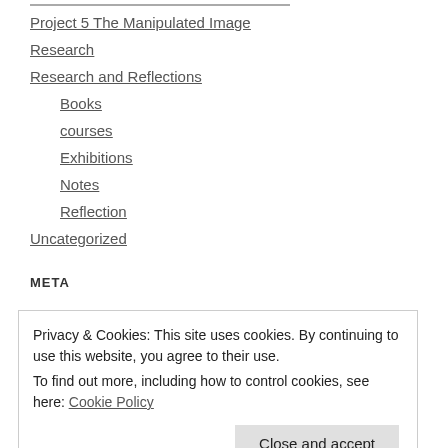Project 5 The Manipulated Image
Research
Research and Reflections
Books
courses
Exhibitions
Notes
Reflection
Uncategorized
META
Privacy & Cookies: This site uses cookies. By continuing to use this website, you agree to their use.
To find out more, including how to control cookies, see here: Cookie Policy
Close and accept